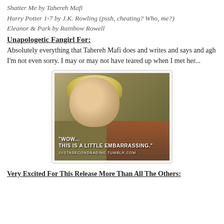Shatter Me by Tahereh Mafi
Harry Potter 1-7 by J.K. Rowling (pssh, cheating? Who, me?)
Eleanor & Park by Rainbow Rowell
Unapologetic Fangirl For:
Absolutely everything that Tahereh Mafi does and writes and says and agh I'm not even sorry. I may or may not have teared up when I met her...
[Figure (photo): Screenshot from a TV show or movie showing a blonde woman looking down, with subtitle text reading 'WOW... THIS IS A LITTLE EMBARRASSING.' and a watermark 'JUSTASECONDNADINE.TUMBLR.COM']
Very Excited For This Release More Than All The Others: